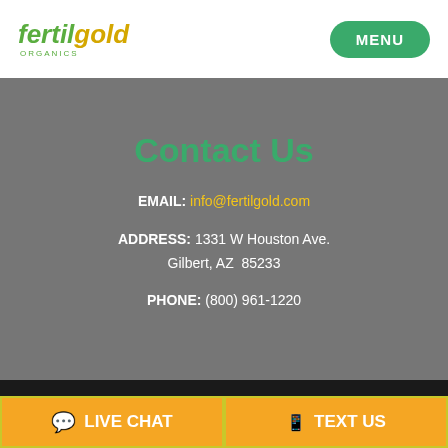[Figure (logo): Fertilgold Organics logo with green italic text 'fertil' and yellow italic text 'gold', with 'ORGANICS' subtitle]
MENU
Contact Us
EMAIL: info@fertilgold.com
ADDRESS: 1331 W Houston Ave. Gilbert, AZ  85233
PHONE: (800) 961-1220
We use cookies to ensure that we give you the best experience on our website. If you continue to use this site we will assume that you are happy with it.
LIVE CHAT
TEXT US